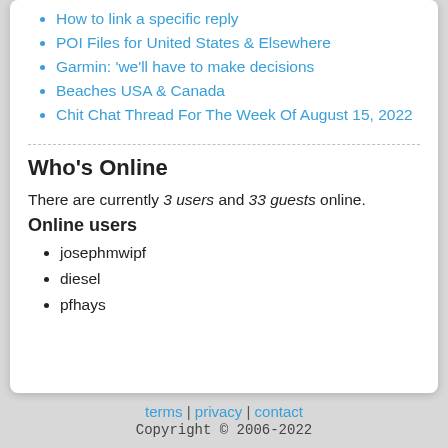How to link a specific reply
POI Files for United States & Elsewhere
Garmin: 'we'll have to make decisions
Beaches USA & Canada
Chit Chat Thread For The Week Of August 15, 2022
Who's Online
There are currently 3 users and 33 guests online.
Online users
josephmwipf
diesel
pfhays
terms | privacy | contact
Copyright © 2006-2022